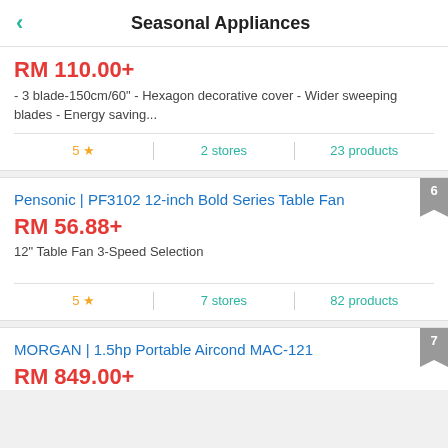Seasonal Appliances
RM 110.00+
- 3 blade-150cm/60" - Hexagon decorative cover - Wider sweeping blades - Energy saving...
5 ★   |   2 stores   |   23 products
Pensonic | PF3102 12-inch Bold Series Table Fan
RM 56.88+
12" Table Fan 3-Speed Selection
5 ★   |   7 stores   |   82 products
MORGAN | 1.5hp Portable Aircond MAC-121
RM 849.00+